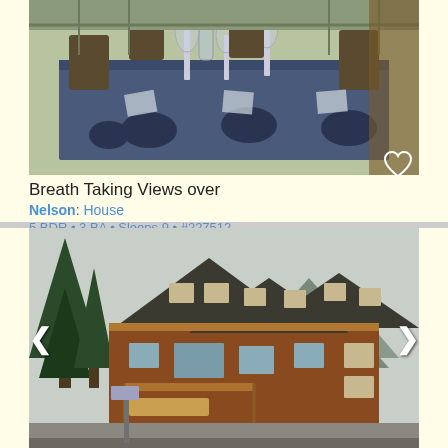[Figure (photo): Outdoor dining table set with plates and glasses on a deck with a railing, sunlit.]
Breath Taking Views over
Nelson: House
5 BDR • 3 BA • Sleeps 9 • #227512
600 to 600 CAD/night  [PayPal] [paw icon]
[Figure (photo): Large rustic multi-story wooden lodge building with mountains and trees in background.]